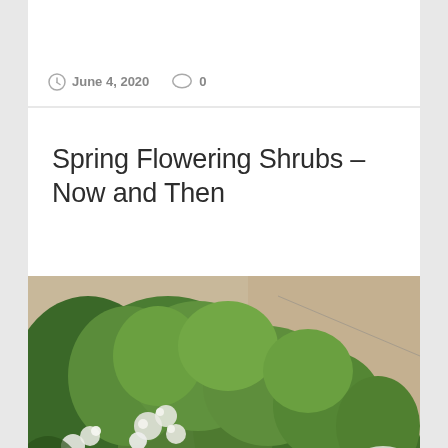June 4, 2020   0
Spring Flowering Shrubs – Now and Then
[Figure (photo): Photo of spring flowering shrubs with large green leaves and clusters of small white flowers against a beige/tan wall background]